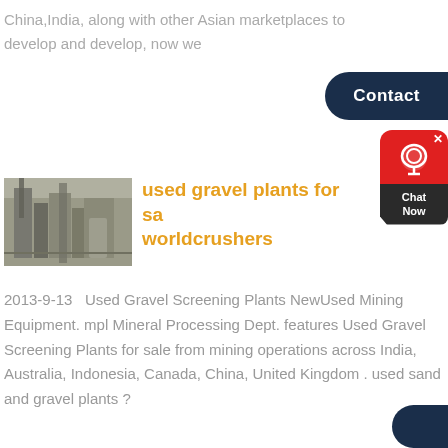China,India, along with other Asian marketplaces to develop and develop, now we
[Figure (screenshot): Contact button - dark navy rounded rectangle with white text 'Contact']
[Figure (screenshot): Chat widget with red icon box showing headset icon and dark 'Chat Now' label, with X close button]
[Figure (photo): Industrial plant/factory facility with metal structures and silos]
used gravel plants for sale worldcrushers
2013-9-13   Used Gravel Screening Plants NewUsed Mining Equipment. mpl Mineral Processing Dept. features Used Gravel Screening Plants for sale from mining operations across India, Australia, Indonesia, Canada, China, United Kingdom . used sand and gravel plants ?
[Figure (screenshot): Partial dark navy rounded button at bottom right, partially visible]